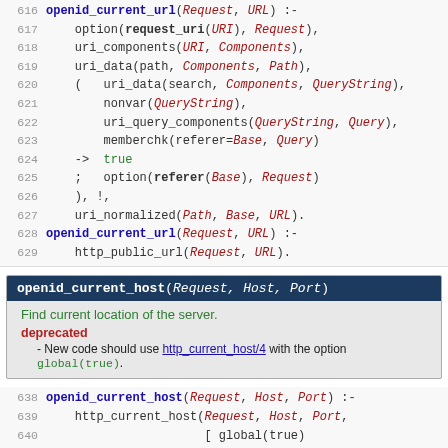Code block lines 616-629: openid_current_url predicate definition
Documentation box: openid_current_host(Request, Host, Port) - Find current location of the server. deprecated - New code should use http_current_host/4 with the option global(true).
Code block lines 638-641: openid_current_host predicate definition